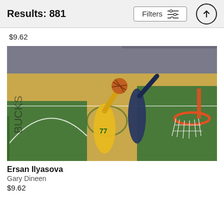Results: 881
$9.62
[Figure (photo): Basketball game action photo: Player #77 in yellow Bucks uniform (Ersan Ilyasova) driving to the basket against a defender in dark uniform, inside an NBA arena with crowd in background. Orange basketball hoop visible on right side.]
Ersan Ilyasova
Gary Dineen
$9.62